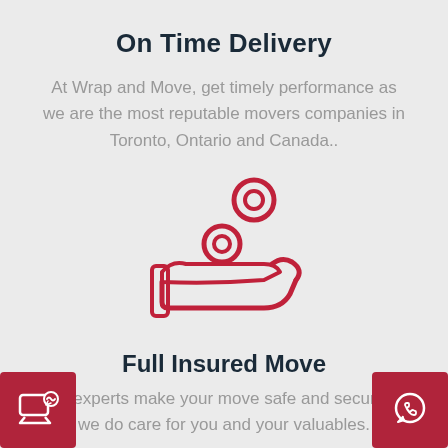On Time Delivery
At Wrap and Move, get timely performance as we are the most reputable movers companies in Toronto, Ontario and Canada..
[Figure (illustration): Red outline icon of an open hand holding a coin/target with another coin floating above it, representing delivery or payment service]
Full Insured Move
Our experts make your move safe and secure as we do care for you and your valuables.